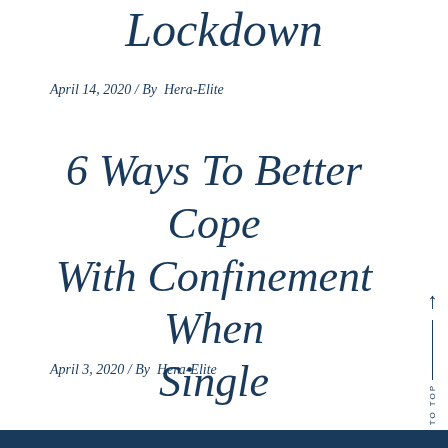Lockdown
April 14, 2020 / By  Hera-Elite
6 Ways To Better Cope With Confinement When Single
April 3, 2020 / By  Hera-Elite